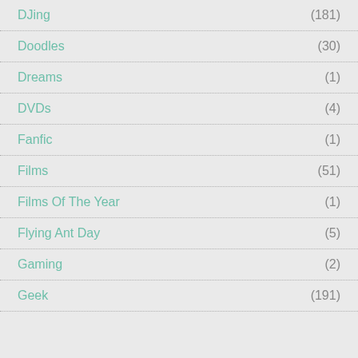DJing (181)
Doodles (30)
Dreams (1)
DVDs (4)
Fanfic (1)
Films (51)
Films Of The Year (1)
Flying Ant Day (5)
Gaming (2)
Geek (191)